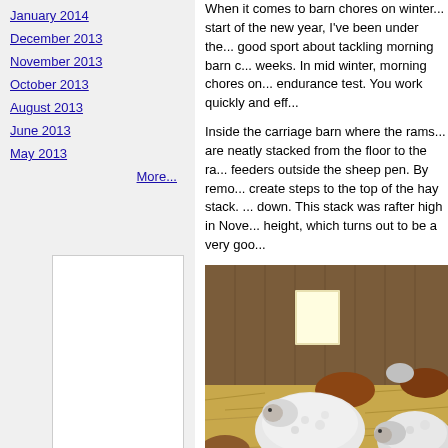January 2014
December 2013
November 2013
October 2013
August 2013
June 2013
May 2013
More...
[Figure (other): White rectangular box placeholder in sidebar]
When it comes to barn chores on winter... start of the new year, I've been under the... good sport about tackling morning barn c... weeks. In mid winter, morning chores on... endurance test. You work quickly and eff...
Inside the carriage barn where the rams... are neatly stacked from the floor to the ra... feeders outside the sheep pen. By remo... create steps to the top of the hay stack. ... down. This stack was rafter high in Nove... height, which turns out to be a very goo...
[Figure (photo): Sheep resting on hay inside a barn. Multiple white woolly sheep visible lying on straw/hay on the barn floor, with wooden barn walls and a bright window in the background.]